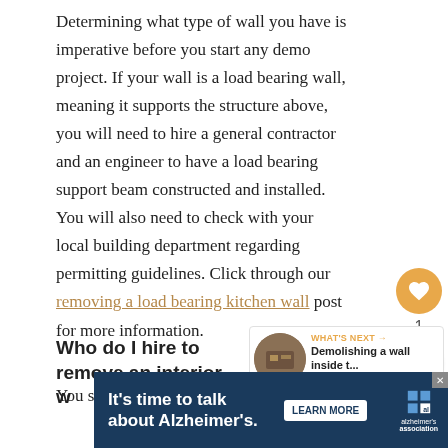Determining what type of wall you have is imperative before you start any demo project. If your wall is a load bearing wall, meaning it supports the structure above, you will need to hire a general contractor and an engineer to have a load bearing support beam constructed and installed. You will also need to check with your local building department regarding permitting guidelines. Click through our removing a load bearing kitchen wall post for more information.
[Figure (other): Social sidebar with heart/favorite button showing count of 1, and a share button]
Who do I hire to remove an interior w...
[Figure (other): What's Next panel showing thumbnail image and text 'Demolishing a wall inside t...']
You should hire a licensed general contractor and
[Figure (other): Advertisement banner: It's time to talk about Alzheimer's. LEARN MORE. Alzheimer's Association logo.]